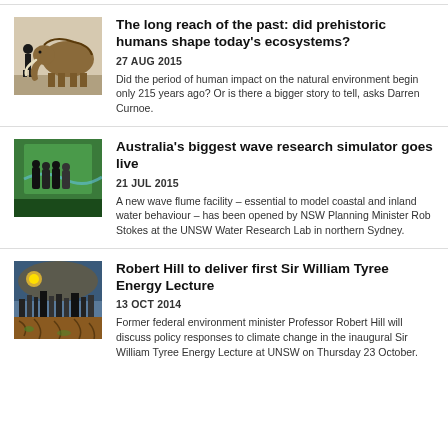[Figure (photo): A mammoth and a human silhouette side by side]
The long reach of the past: did prehistoric humans shape today's ecosystems?
27 AUG 2015
Did the period of human impact on the natural environment begin only 215 years ago? Or is there a bigger story to tell, asks Darren Curnoe.
[Figure (photo): People in dark clothing near a green wave research facility]
Australia's biggest wave research simulator goes live
21 JUL 2015
A new wave flume facility – essential to model coastal and inland water behaviour – has been opened by NSW Planning Minister Rob Stokes at the UNSW Water Research Lab in northern Sydney.
[Figure (photo): Climate change image showing cracked earth and city skyline with stormy sky]
Robert Hill to deliver first Sir William Tyree Energy Lecture
13 OCT 2014
Former federal environment minister Professor Robert Hill will discuss policy responses to climate change in the inaugural Sir William Tyree Energy Lecture at UNSW on Thursday 23 October.